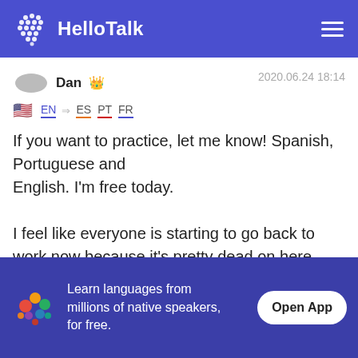HelloTalk
Dan 👑  2020.06.24 18:14
EN → ES PT FR
If you want to practice, let me know! Spanish, Portuguese and
English. I'm free today.

I feel like everyone is starting to go back to work now because it's pretty dead on here today. 😑
Learn languages from millions of native speakers, for free.
Open App